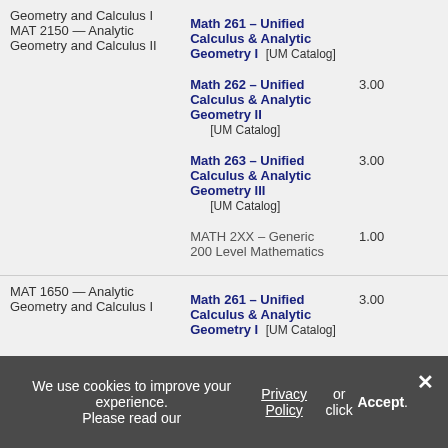| Source Course | Equivalent Course | Credits |
| --- | --- | --- |
| Geometry and Calculus I
MAT 2150 — Analytic Geometry and Calculus II | Math 261 – Unified Calculus & Analytic Geometry I [UM Catalog]
Math 262 – Unified Calculus & Analytic Geometry II [UM Catalog]
Math 263 – Unified Calculus & Analytic Geometry III [UM Catalog]
MATH 2XX – Generic 200 Level Mathematics | 3.00
3.00
1.00 |
| MAT 1650 — Analytic Geometry and Calculus I | Math 261 – Unified Calculus & Analytic Geometry I [UM Catalog]
MATH 2XX – Generic 200 Level Mathematics | 3.00
2.00 |
| MAT 2150 — Analytic Geometry and Calculus II | Math 262 – Unified Calculus & Analytic Geometry II [UM Catalog]
MATH 2XX – Generic 200 Level Mathematics | 3.00
2.00 |
| MAT 2250 — Analytic Geometry and Calculus III | Math 264 – Unified Calculus & Analytic Geometry IV | 3.00 |
We use cookies to improve your experience. Please read our Privacy Policy or click Accept.